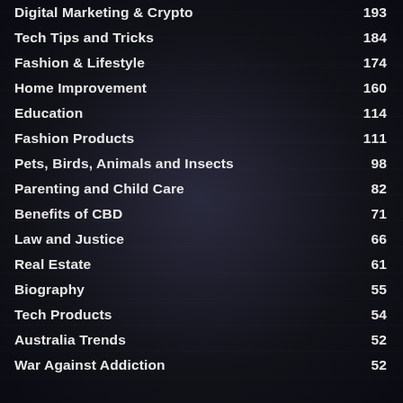Digital Marketing & Crypto — 193
Tech Tips and Tricks — 184
Fashion & Lifestyle — 174
Home Improvement — 160
Education — 114
Fashion Products — 111
Pets, Birds, Animals and Insects — 98
Parenting and Child Care — 82
Benefits of CBD — 71
Law and Justice — 66
Real Estate — 61
Biography — 55
Tech Products — 54
Australia Trends — 52
War Against Addiction — 52